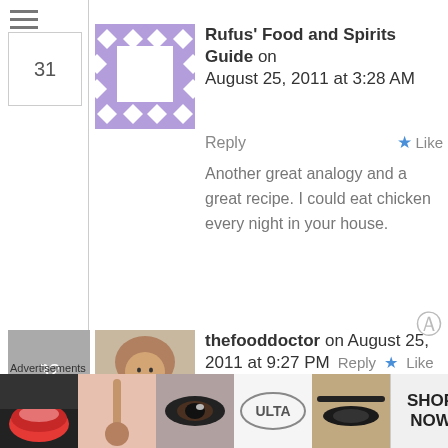31 Rufus' Food and Spirits Guide on August 25, 2011 at 3:28 AM Reply Like Another great analogy and a great recipe. I could eat chicken every night in your house.
32 thefooddoctor on August 25, 2011 at 9:27 PM Reply Like Thank you so much Greg
Advertisements